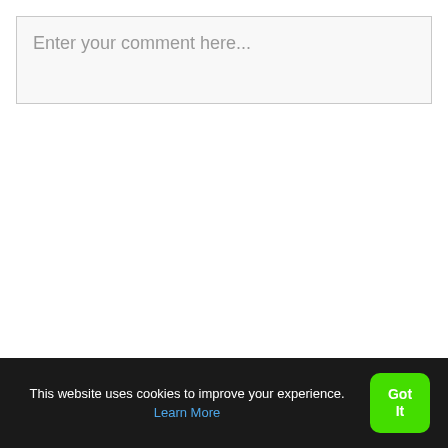Enter your comment here...
This website uses cookies to improve your experience. Learn More
Got It